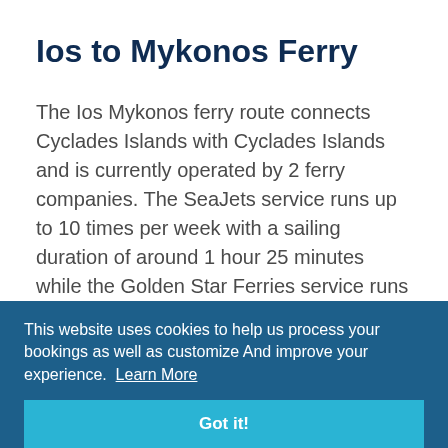Ios to Mykonos Ferry
The Ios Mykonos ferry route connects Cyclades Islands with Cyclades Islands and is currently operated by 2 ferry companies. The SeaJets service runs up to 10 times per week with a sailing duration of around 1 hour 25 minutes while the Golden Star Ferries service runs up to 7 times per week with a duration from 2 hr 40 min.
So that's a combined 17 sailings on offer per week on the Ios Mykonos route between Cyclades Islands and Cyclades Islands. Compare now and get the best fare
This website uses cookies to help us process your bookings as well as customize And improve your experience. Learn More
Got it!